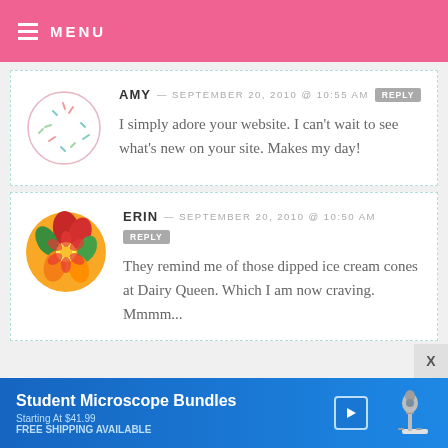MENU
AMY — SEPTEMBER 20, 2010 @ 10:55 AM  REPLY
I simply adore your website. I can't wait to see what's new on your site. Makes my day!
ERIN — SEPTEMBER 20, 2010 @ 10:50 AM  REPLY
They remind me of those dipped ice cream cones at Dairy Queen. Which I am now craving. Mmmm...
[Figure (infographic): Advertisement banner for Student Microscope Bundles starting at $41.99, free shipping available, with microscope image on right]
Student Microscope Bundles
Starting At $41.99
FREE SHIPPING AVAILABLE